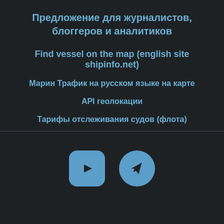Предложение для журналистов, блоггеров и аналитиков
Find vessel on the map (english site shipinfo.net)
Марин Трафик на русском языке на карте
API геолокации
Тарифы отслеживания судов (флота)
[Figure (illustration): YouTube icon (rounded rectangle with play button) and Telegram icon (circle with paper plane)]